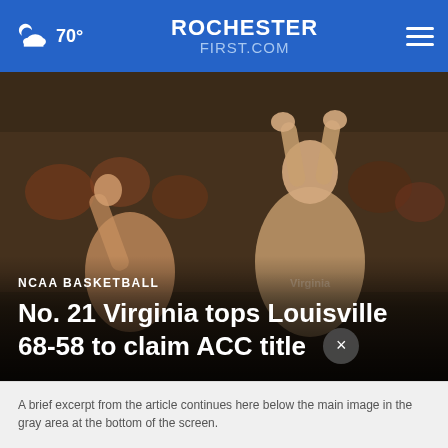☁ 70° | ROCHESTER FIRST.COM | ☰
[Figure (photo): Basketball player with arms raised above head in a gymnasium, with crowd visible in background. Dimly lit arena scene.]
NCAA BASKETBALL
No. 21 Virginia tops Louisville 68-58 to claim ACC title
A brief text excerpt from the article appears below the image in the gray area at the bottom of the page.